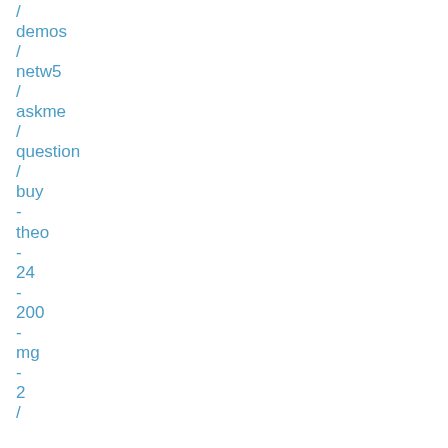/ demos / netw5 / askme / question / buy - theo - 24 - 200 - mg - 2 /